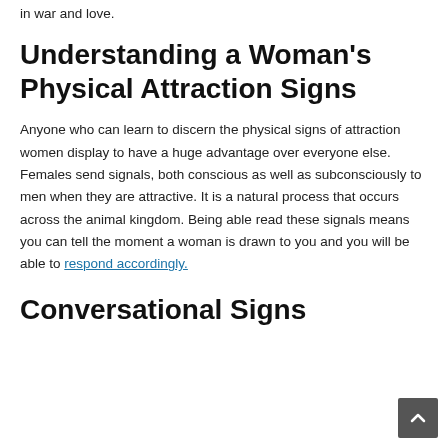in war and love.
Understanding a Woman's Physical Attraction Signs
Anyone who can learn to discern the physical signs of attraction women display to have a huge advantage over everyone else. Females send signals, both conscious as well as subconsciously to men when they are attractive. It is a natural process that occurs across the animal kingdom. Being able read these signals means you can tell the moment a woman is drawn to you and you will be able to respond accordingly.
Conversational Signs